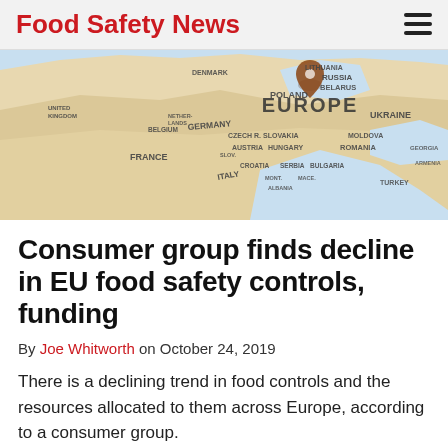Food Safety News
[Figure (map): Close-up map of Europe showing country labels including EUROPE, POLAND, RUSSIA, BELARUS, UKRAINE, GERMANY, CZECH R., SLOVAKIA, AUSTRIA, HUNGARY, MOLDOVA, ROMANIA, FRANCE, BELGIUM, ITALY, CROATIA, SERBIA, BULGARIA, and others. A map pin is visible near Russia/Belarus.]
Consumer group finds decline in EU food safety controls, funding
By Joe Whitworth on October 24, 2019
There is a declining trend in food controls and the resources allocated to them across Europe, according to a consumer group.